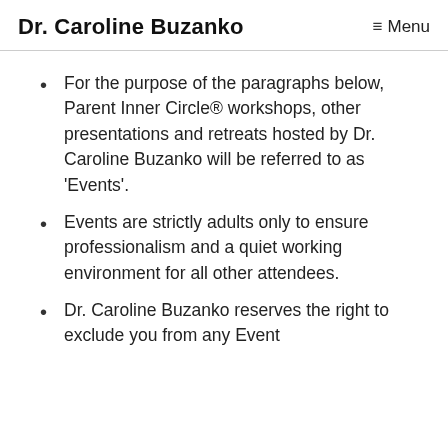Dr. Caroline Buzanko
For the purpose of the paragraphs below, Parent Inner Circle® workshops, other presentations and retreats hosted by Dr. Caroline Buzanko will be referred to as 'Events'.
Events are strictly adults only to ensure professionalism and a quiet working environment for all other attendees.
Dr. Caroline Buzanko reserves the right to exclude you from any Event